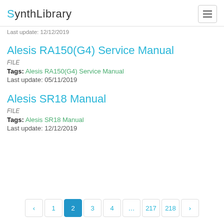SynthLibrary
Last update: 12/12/2019
Alesis RA150(G4) Service Manual
FILE
Tags: Alesis RA150(G4) Service Manual
Last update: 05/11/2019
Alesis SR18 Manual
FILE
Tags: Alesis SR18 Manual
Last update: 12/12/2019
‹ 1 2 3 4 … 217 218 ›